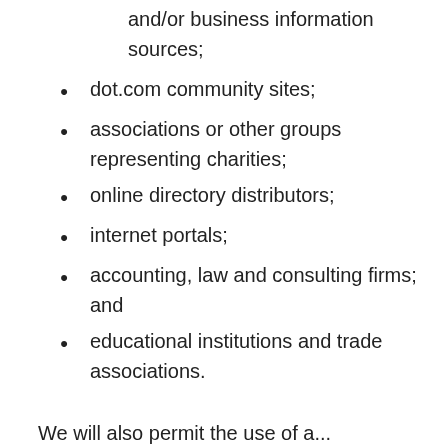and/or business information sources;
dot.com community sites;
associations or other groups representing charities;
online directory distributors;
internet portals;
accounting, law and consulting firms; and
educational institutions and trade associations.
We will also permit the use of a...